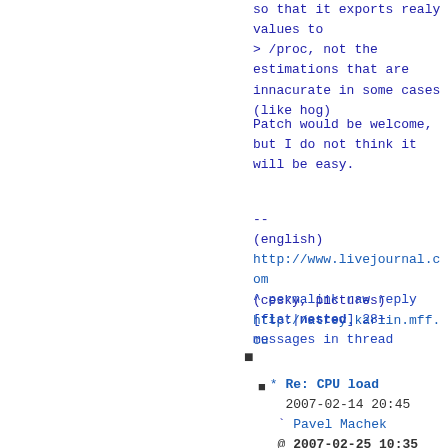so that it exports realy values to
> /proc, not the estimations that are innacurate in some cases (like hog)
Patch would be welcome, but I do not think it will be easy.
--
(english)
http://www.livejournal.com
(cesky, pictures)
http://atrey.karlin.mff.cu
^ permalink raw reply [flat|nested] 28+ messages in thread
* Re: CPU load 2007-02-14 20:45 Pavel Machek @ 2007-02-25 10:35 malc 2007-02-26 9:28 Pavel Machek 0 siblings 1